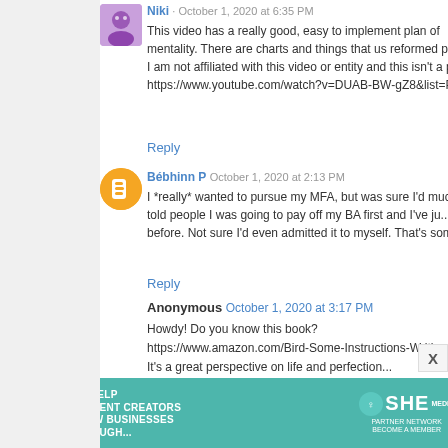Niki · October 1, 2020 at 6:35 PM
This video has a really good, easy to implement plan of mentality. There are charts and things that us reformed perf... I am not affiliated with this video or entity and this isn't a pai... https://www.youtube.com/watch?v=DUAB-BW-gZ8&list=PL...
Reply
Bébhinn P · October 1, 2020 at 2:13 PM
I *really* wanted to pursue my MFA, but was sure I'd muck... told people I was going to pay off my BA first and I've ju... before. Not sure I'd even admitted it to myself. That's some...
Reply
Anonymous · October 1, 2020 at 3:17 PM
Howdy! Do you know this book?
https://www.amazon.com/Bird-Some-Instructions-Writing-Li...
It's a great perspective on life and perfection...
Cheers!
Reply
[Figure (other): SHE Media partner network advertisement banner with woman photo, text 'We help content creators grow businesses through...' and Learn More button]